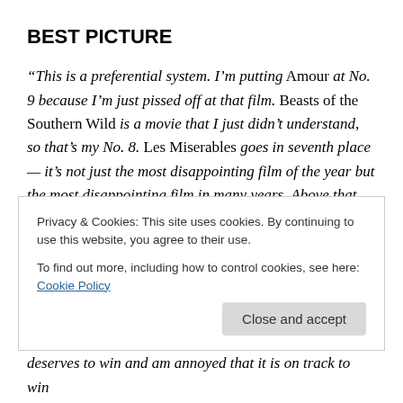BEST PICTURE
“This is a preferential system. I’m putting Amour at No. 9 because I’m just pissed off at that film. Beasts of the Southern Wild is a movie that I just didn’t understand, so that’s my No. 8. Les Miserables goes in seventh place — it’s not just the most disappointing film of the year but the most disappointing film in many years. Above that I’m putting Silver Linings Playbook, which is just a “blah” film. Django Unchained will go into my fifth slot — it’s a fun movie, but it’s basically just Quentin
Privacy & Cookies: This site uses cookies. By continuing to use this website, you agree to their use.
To find out more, including how to control cookies, see here: Cookie Policy
deserves to win and am annoyed that it is on track to win